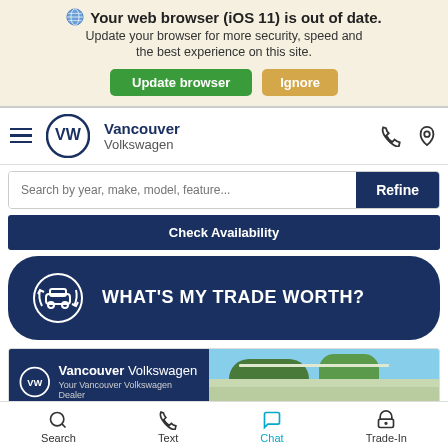[Figure (screenshot): Browser update warning banner with globe icon, bold text 'Your web browser (iOS 11) is out of date.', subtext 'Update your browser for more security, speed and the best experience on this site.', with green 'Update browser' and tan 'Ignore' buttons]
[Figure (screenshot): Vancouver Volkswagen website navigation bar with hamburger menu, VW logo, dealer name 'Vancouver Volkswagen', phone and location icons]
[Figure (screenshot): Search bar with placeholder 'Search by year, make, model, feature...' and dark blue 'Refine' button]
[Figure (screenshot): Dark navy 'Check Availability' button]
[Figure (screenshot): Dark navy rounded banner with car trade icon and text 'WHAT'S MY TRADE WORTH?']
[Figure (screenshot): Vancouver Volkswagen advertisement banner with logo and tagline 'Your Vancouver Volkswagen Dealer' with outdoor photo of car roof and trees]
[Figure (screenshot): Bottom navigation bar with Search, Text, Chat, Trade-In icons and labels]